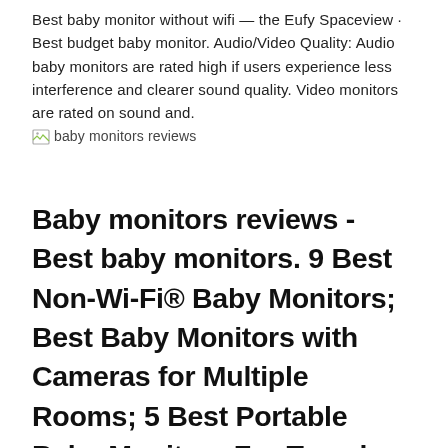Best baby monitor without wifi — the Eufy Spaceview · Best budget baby monitor. Audio/Video Quality: Audio baby monitors are rated high if users experience less interference and clearer sound quality. Video monitors are rated on sound and.
[Figure (other): Broken image placeholder with alt text 'baby monitors reviews']
Baby monitors reviews - Best baby monitors. 9 Best Non-Wi-Fi® Baby Monitors; Best Baby Monitors with Cameras for Multiple Rooms; 5 Best Portable Baby Monitors For Travel; Best Wi-Fi® Baby Monitors; 7 Reasons to Get a Best Baby Monitor with Split-